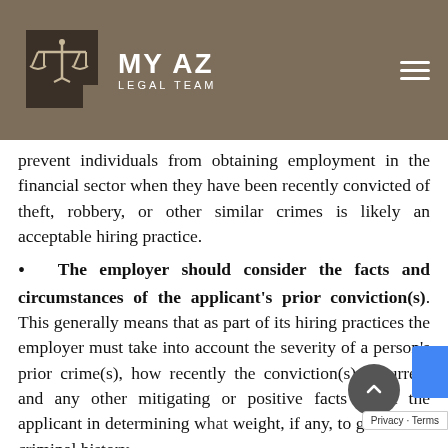MY AZ LEGAL TEAM
prevent individuals from obtaining employment in the financial sector when they have been recently convicted of theft, robbery, or other similar crimes is likely an acceptable hiring practice.
The employer should consider the facts and circumstances of the applicant's prior conviction(s). This generally means that as part of its hiring practices the employer must take into account the severity of a person's prior crime(s), how recently the conviction(s) occurred, and any other mitigating or positive facts about the applicant in determining what weight, if any, to give to the criminal history of the applicant. If the circumstances warrant it,